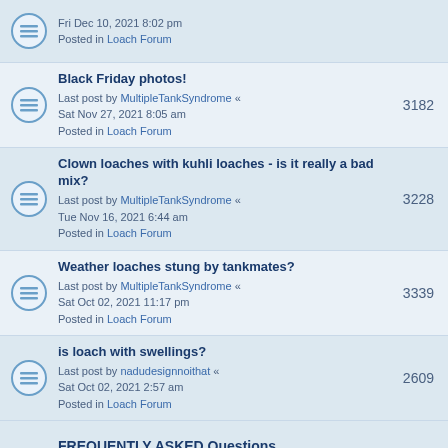Fri Dec 10, 2021 8:02 pm
Posted in Loach Forum
Black Friday photos!
Last post by MultipleTankSyndrome « Sat Nov 27, 2021 8:05 am
Posted in Loach Forum
3182
Clown loaches with kuhli loaches - is it really a bad mix?
Last post by MultipleTankSyndrome « Tue Nov 16, 2021 6:44 am
Posted in Loach Forum
3228
Weather loaches stung by tankmates?
Last post by MultipleTankSyndrome « Sat Oct 02, 2021 11:17 pm
Posted in Loach Forum
3339
is loach with swellings?
Last post by nadudesignnoithat « Sat Oct 02, 2021 2:57 am
Posted in Loach Forum
2609
FREQUENTLY ASKED Questions